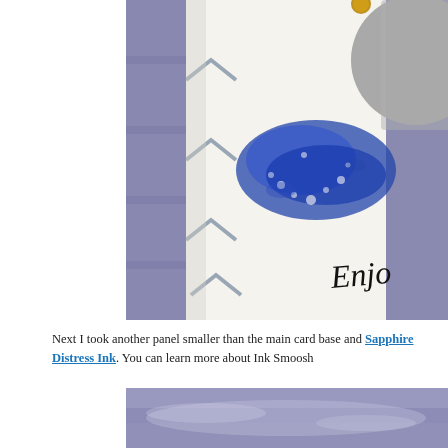[Figure (photo): Close-up photo of a handmade craft card showing a white panel with blue chevron/zigzag stamped pattern, a blue watercolor ink smoosh effect, a grey circular element in the upper right, and the word 'Enjoy' handwritten in black script. The background is a purple/lavender surface.]
Next I took another panel smaller than the main card base and Sapphire Distress Ink. You can learn more about Ink Smoosh
[Figure (photo): Partial photo showing a purple/lavender watercolor or ink-smooshed surface, cropped at the top of a second image.]